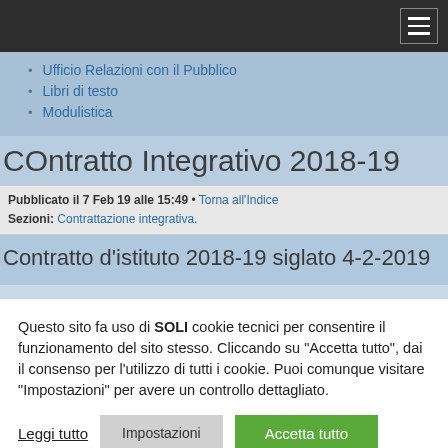Navigation bar with hamburger menu
Ufficio Relazioni con il Pubblico
Libri di testo
Modulistica
COntratto Integrativo 2018-19
Pubblicato il 7 Feb 19 alle 15:49 • Torna all'Indice
Sezioni: Contrattazione integrativa.
Contratto d'istituto 2018-19 siglato 4-2-2019
Questo sito fa uso di SOLI cookie tecnici per consentire il funzionamento del sito stesso. Cliccando su "Accetta tutto", dai il consenso per l'utilizzo di tutti i cookie. Puoi comunque visitare "Impostazioni" per avere un controllo dettagliato.